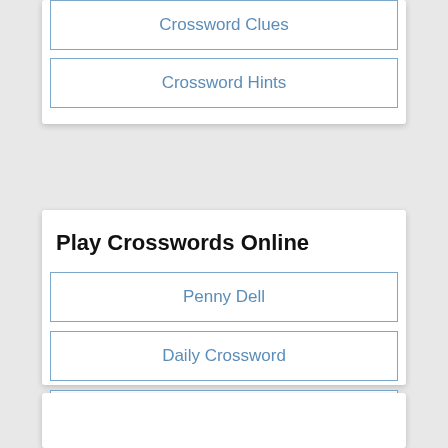Crossword Clues
Crossword Hints
Play Crosswords Online
Penny Dell
Daily Crossword
Daily Cryptic Crossword
Pd Brain Booster
Anagram Crossword